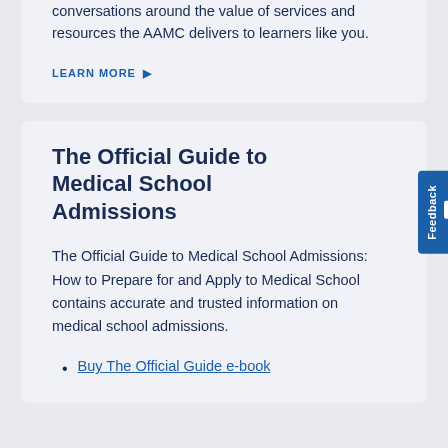conversations around the value of services and resources the AAMC delivers to learners like you.
LEARN MORE ▶
The Official Guide to Medical School Admissions
The Official Guide to Medical School Admissions: How to Prepare for and Apply to Medical School contains accurate and trusted information on medical school admissions.
Buy The Official Guide e-book